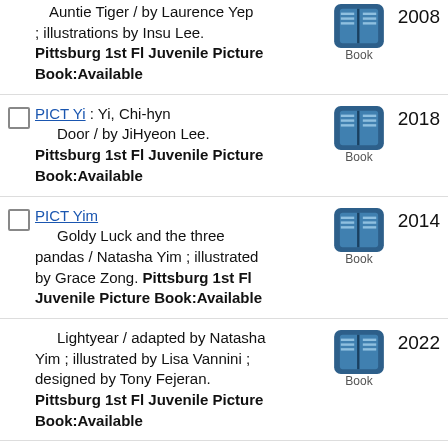Auntie Tiger / by Laurence Yep ; illustrations by Insu Lee. Pittsburg 1st Fl Juvenile Picture Book:Available
Door / by JiHyeon Lee. Pittsburg 1st Fl Juvenile Picture Book:Available
Goldy Luck and the three pandas / Natasha Yim ; illustrated by Grace Zong. Pittsburg 1st Fl Juvenile Picture Book:Available
Lightyear / adapted by Natasha Yim ; illustrated by Lisa Vannini ; designed by Tony Fejeran. Pittsburg 1st Fl Juvenile Picture Book:Available
Coolies / by Yin ; illustrated by Chris K. Soentpiet. Lakeside